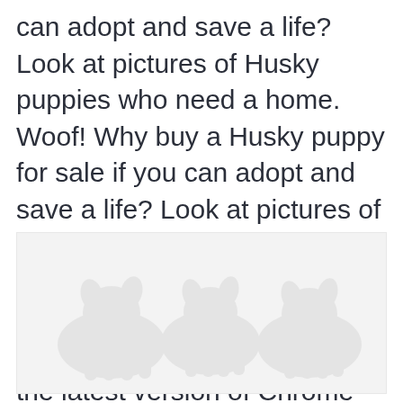can adopt and save a life? Look at pictures of Husky puppies who need a home. Woof! Why buy a Husky puppy for sale if you can adopt and save a life? Look at pictures of Husky puppies who need a home. Anything Look... Weird? For the best experience, we recommend you upgrade to the latest version of Chrome or.
[Figure (photo): Faded/ghosted placeholder image area showing silhouettes of Husky puppies, very light gray against white background]